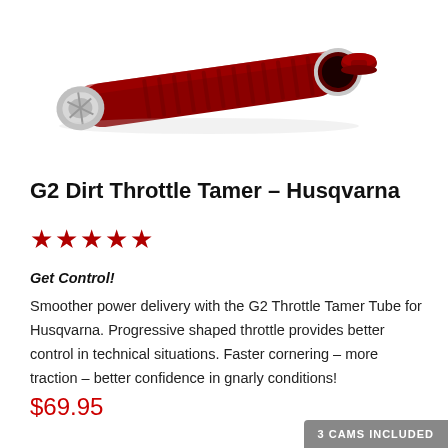[Figure (photo): Product photo of the G2 Dirt Throttle Tamer for Husqvarna — a dark red cylindrical throttle tube with silver metal end cap, shown at an angle on a white background, with a small red cap piece to the right.]
G2 Dirt Throttle Tamer – Husqvarna
★★★★★
Get Control!
Smoother power delivery with the G2 Throttle Tamer Tube for Husqvarna. Progressive shaped throttle provides better control in technical situations. Faster cornering – more traction – better confidence in gnarly conditions!
$69.95
3 CAMS INCLUDED